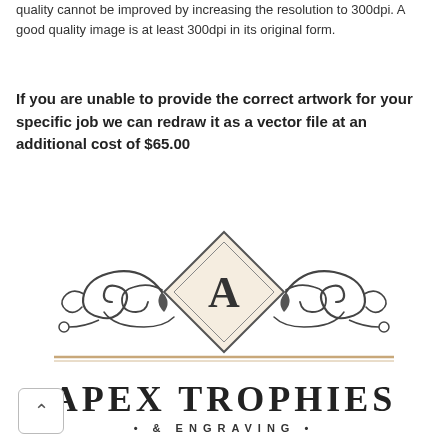quality cannot be improved by increasing the resolution to 300dpi. A good quality image is at least 300dpi in its original form.
If you are unable to provide the correct artwork for your specific job we can redraw it as a vector file at an additional cost of $65.00
[Figure (logo): Apex Trophies & Engraving logo featuring a decorative diamond shape with the letter A in the center, ornate scrollwork flourishes on either side, a horizontal divider line, large bold text reading APEX TROPHIES, and below that • & ENGRAVING • in spaced lettering.]